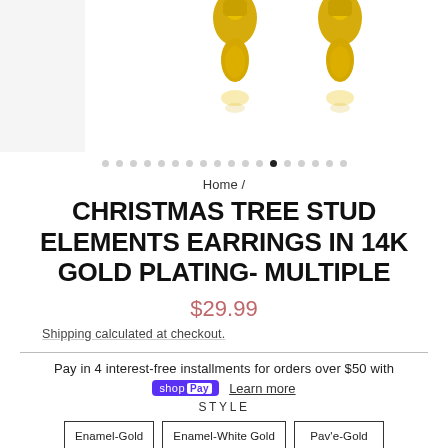[Figure (photo): Product photo of gold earrings against white background, partially cropped at top]
Home /
CHRISTMAS TREE STUD ELEMENTS EARRINGS IN 14K GOLD PLATING- MULTIPLE
$29.99
Shipping calculated at checkout.
Pay in 4 interest-free installments for orders over $50 with
shop Pay  Learn more
STYLE
Enamel-Gold  Enamel-White Gold  Pav'e-Gold